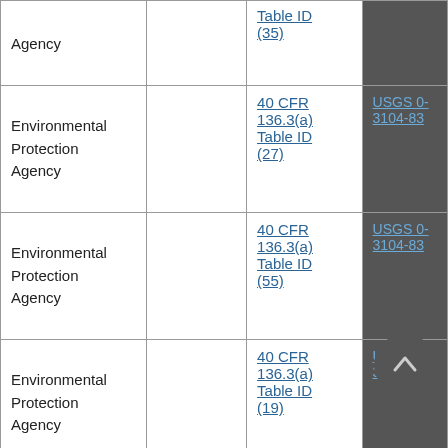| Agency |  | Table ID (35) |  |
| Environmental Protection Agency |  | 40 CFR 136.3(a) Table ID (27) | USGS 0-3104-83 |
| Environmental Protection Agency |  | 40 CFR 136.3(a) Table ID (55) | USGS 0-3104-83 |
| Environmental Protection Agency |  | 40 CFR 136.3(a) Table ID (19) | USGS 0-3104-83 |
| Environmental Protection Agency |  | 40 CFR 136.3(a) | USGS 0- |